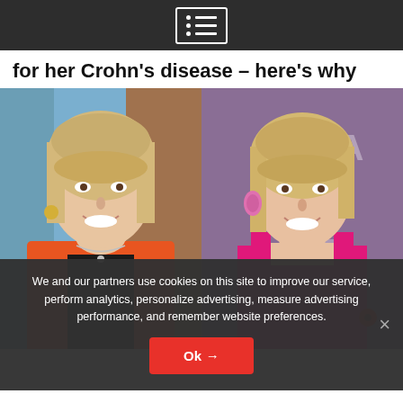for her Crohn's disease – here's why
[Figure (photo): Two side-by-side photos of a blonde woman: left photo shows her in an orange blazer over a black top; right photo shows her in a bright pink/magenta sleeveless dress at what appears to be an awards event with 'TA' lettering visible in the background.]
We and our partners use cookies on this site to improve our service, perform analytics, personalize advertising, measure advertising performance, and remember website preferences.
Ok →